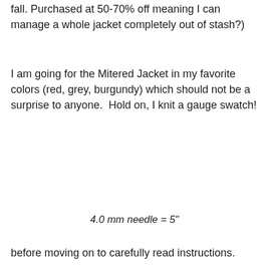fall. Purchased at 50-70% off meaning I can manage a whole jacket completely out of stash?)
I am going for the Mitered Jacket in my favorite colors (red, grey, burgundy) which should not be a surprise to anyone.  Hold on, I knit a gauge swatch!
4.0 mm needle = 5"
before moving on to carefully read instructions.